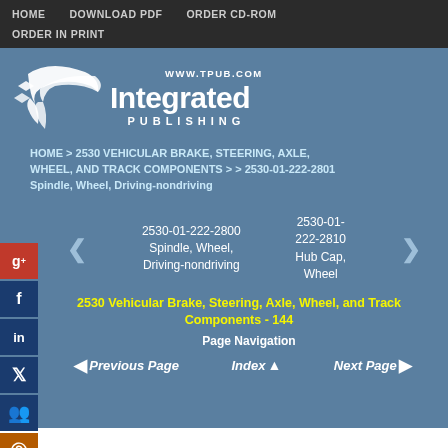HOME   DOWNLOAD PDF   ORDER CD-ROM   ORDER IN PRINT
[Figure (logo): Integrated Publishing logo with stylized bird/arrow graphic and text 'www.tpub.com Integrated PUBLISHING']
HOME > 2530 VEHICULAR BRAKE, STEERING, AXLE, WHEEL, AND TRACK COMPONENTS > > 2530-01-222-2801 Spindle, Wheel, Driving-nondriving
2530-01-222-2800 Spindle, Wheel, Driving-nondriving
2530-01-222-2810 Hub Cap, Wheel
2530 Vehicular Brake, Steering, Axle, Wheel, and Track Components - 144
Page Navigation
Previous Page   Index   Next Page